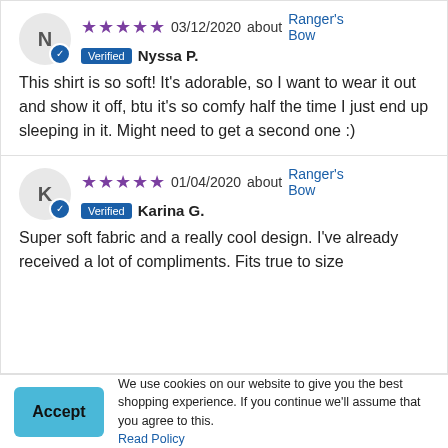★★★★★ 03/12/2020 about Ranger's Bow — Verified — Nyssa P.
This shirt is so soft! It's adorable, so I want to wear it out and show it off, btu it's so comfy half the time I just end up sleeping in it. Might need to get a second one :)
★★★★★ 01/04/2020 about Ranger's Bow — Verified — Karina G.
Super soft fabric and a really cool design. I've already received a lot of compliments. Fits true to size
Accept — We use cookies on our website to give you the best shopping experience. If you continue we'll assume that you agree to this. Read Policy